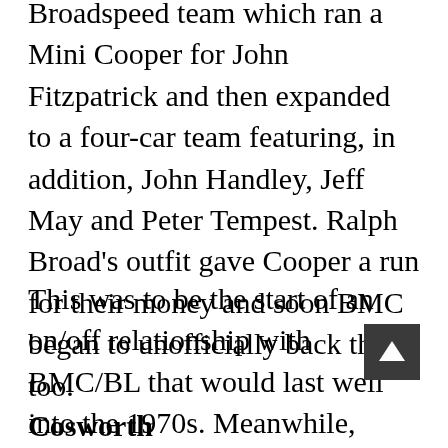Broadspeed team which ran a Mini Cooper for John Fitzpatrick and then expanded to a four-car team featuring, in addition, John Handley, Jeff May and Peter Tempest. Ralph Broad's outfit gave Cooper a run for their money and soon BMC began to unofficially back them too.
This was to be the start of an on/off relationship with BMC/BL that would last well into the 1970s. Meanwhile, Downton Engineering-backed Dutchman Rob Slotemaker won the 1963 European Touring Car Championship.
Cosworth